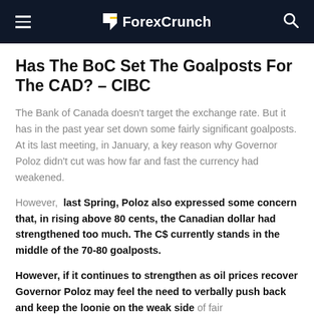ForexCrunch
Has The BoC Set The Goalposts For The CAD? – CIBC
The Bank of Canada doesn't target the exchange rate. But it has in the past year set down some fairly significant goalposts. At its last meeting, in January, a key reason why Governor Poloz didn't cut was how far and fast the currency had weakened.
However, last Spring, Poloz also expressed some concern that, in rising above 80 cents, the Canadian dollar had strengthened too much. The C$ currently stands in the middle of the 70-80 goalposts.
However, if it continues to strengthen as oil prices recover Governor Poloz may feel the need to verbally push back and keep the loonie on the weak side of fair